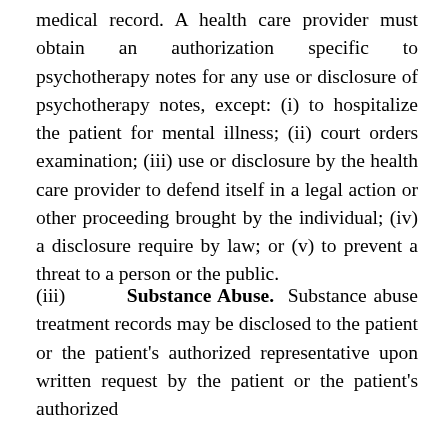medical record. A health care provider must obtain an authorization specific to psychotherapy notes for any use or disclosure of psychotherapy notes, except: (i) to hospitalize the patient for mental illness; (ii) court orders examination; (iii) use or disclosure by the health care provider to defend itself in a legal action or other proceeding brought by the individual; (iv) a disclosure require by law; or (v) to prevent a threat to a person or the public.
(iii)        Substance Abuse.  Substance abuse treatment records may be disclosed to the patient or the patient's authorized representative upon written request by the patient or the patient's authorized